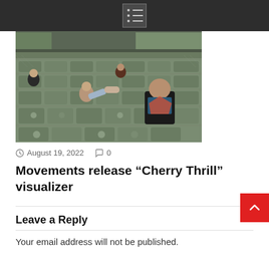Menu icon navigation bar
[Figure (photo): Four young people sitting in green stadium seats in an empty venue. One person has their feet up on the seat in front. The venue has a roof/canopy visible in the background.]
August 19, 2022   0
Movements release “Cherry Thrill” visualizer
Leave a Reply
Your email address will not be published.